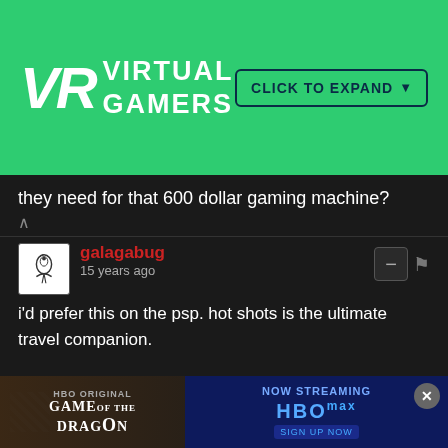VIRTUAL GAMERS — CLICK TO EXPAND
they need for that 600 dollar gaming machine?
galagabug
15 years ago
i'd prefer this on the psp. hot shots is the ultimate travel companion.

where's psp hsg with infrastructure support? i have ass whoopings for people, and no avenue to dish them out.
tazarthayoot
15 years ago
I have no doubts in my mind this game will be good. I love the H[...] like tenni[...]
[Figure (screenshot): HBO House of the Dragon advertisement banner at bottom of page]